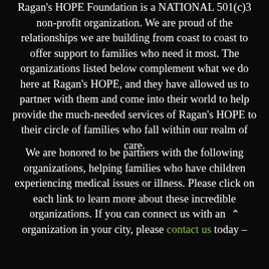Ragan's HOPE Foundation is a NATIONAL 501(c)3 non-profit organization. We are proud of the relationships we are building from coast to coast to offer support to families who need it most. The organizations listed below complement what we do here at Ragan's HOPE, and they have allowed us to partner with them and come into their world to help provide the much-needed services of Ragan's HOPE to their circle of families who fall within our realm of care.
We are honored to be partners with the following organizations, helping families who have children experiencing medical issues or illness. Please click on each link to learn more about these incredible organizations. If you can connect us with an organization in your city, please contact us today —